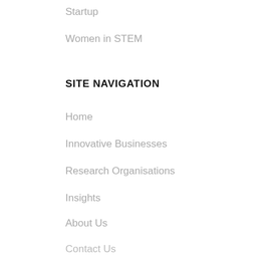Startup
Women in STEM
SITE NAVIGATION
Home
Innovative Businesses
Research Organisations
Insights
About Us
Contact Us
ABOUT
gemaker pty ltd
ABN 29 154 022 125